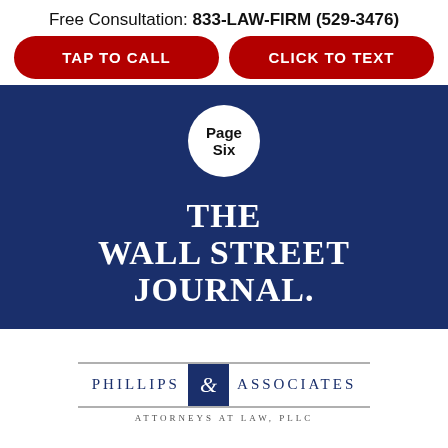Free Consultation: 833-LAW-FIRM (529-3476)
TAP TO CALL
CLICK TO TEXT
[Figure (logo): Page Six logo — white circle with bold black text 'Page Six' on a dark navy blue background]
[Figure (logo): The Wall Street Journal logo in white serif bold font on dark navy blue background]
[Figure (logo): Phillips & Associates Attorneys at Law, PLLC logo — serif text with ampersand in navy blue box]